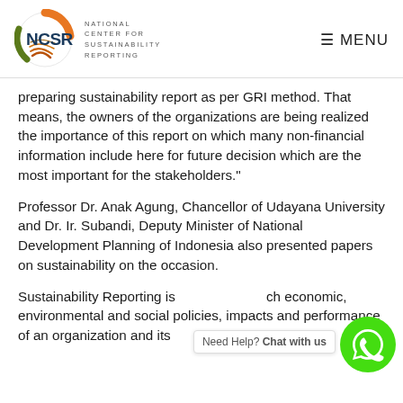[Figure (logo): NCSR National Center for Sustainability Reporting logo with circular icon and text]
≡ MENU
preparing sustainability report as per GRI method. That means, the owners of the organizations are being realized the importance of this report on which many non-financial information include here for future decision which are the most important for the stakeholders."
Professor Dr. Anak Agung, Chancellor of Udayana University and Dr. Ir. Subandi, Deputy Minister of National Development Planning of Indonesia also presented papers on sustainability on the occasion.
Sustainability Reporting is... economic, environmental and social policies, impacts and performance of an organization and its